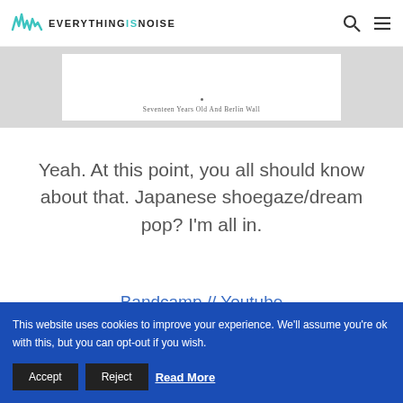EVERYTHINGSNOISE
[Figure (other): Album artwork or music player embed showing text 'Seventeen Years Old And Berlin Wall']
Yeah. At this point, you all should know about that. Japanese shoegaze/dream pop? I'm all in.
Bandcamp // Youtube
This website uses cookies to improve your experience. We'll assume you're ok with this, but you can opt-out if you wish. Accept Reject Read More